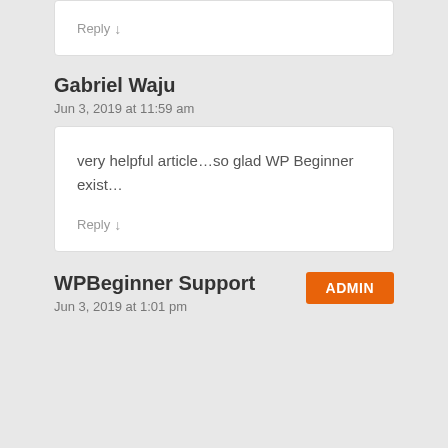Reply ↓
Gabriel Waju
Jun 3, 2019 at 11:59 am
very helpful article…so glad WP Beginner exist…
Reply ↓
WPBeginner Support
ADMIN
Jun 3, 2019 at 1:01 pm